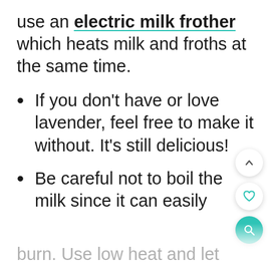use an electric milk frother which heats milk and froths at the same time.
If you don't have or love lavender, feel free to make it without. It's still delicious!
Be careful not to boil the milk since it can easily burn. Use low heat and let